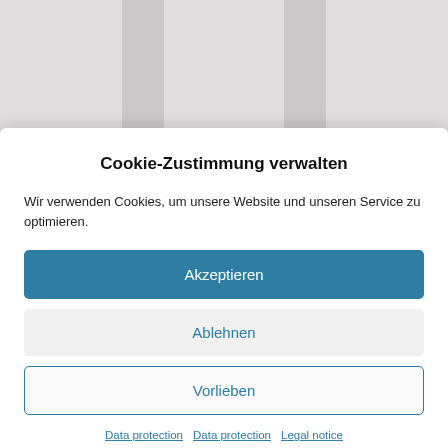[Figure (screenshot): Background showing two gray column bars on a light gray background, partially visible behind the modal overlay.]
Cookie-Zustimmung verwalten
Wir verwenden Cookies, um unsere Website und unseren Service zu optimieren.
Akzeptieren
Ablehnen
Vorlieben
Data protection  Data protection  Legal notice